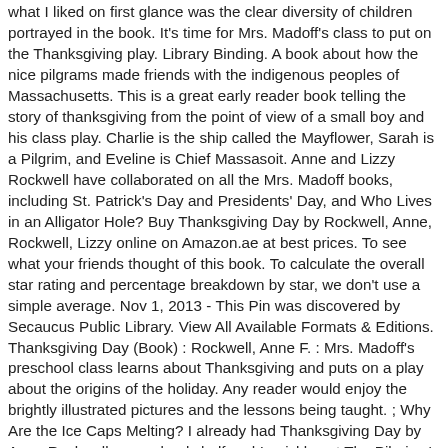what I liked on first glance was the clear diversity of children portrayed in the book. It's time for Mrs. Madoff's class to put on the Thanksgiving play. Library Binding. A book about how the nice pilgrams made friends with the indigenous peoples of Massachusetts. This is a great early reader book telling the story of thanksgiving from the point of view of a small boy and his class play. Charlie is the ship called the Mayflower, Sarah is a Pilgrim, and Eveline is Chief Massasoit. Anne and Lizzy Rockwell have collaborated on all the Mrs. Madoff books, including St. Patrick's Day and Presidents' Day, and Who Lives in an Alligator Hole? Buy Thanksgiving Day by Rockwell, Anne, Rockwell, Lizzy online on Amazon.ae at best prices. To see what your friends thought of this book. To calculate the overall star rating and percentage breakdown by star, we don't use a simple average. Nov 1, 2013 - This Pin was discovered by Secaucus Public Library. View All Available Formats & Editions. Thanksgiving Day (Book) : Rockwell, Anne F. : Mrs. Madoff's preschool class learns about Thanksgiving and puts on a play about the origins of the holiday. Any reader would enjoy the brightly illustrated pictures and the lessons being taught. ; Why Are the Ice Caps Melting? I already had Thanksgiving Day by Anne Rockwell on our bookshelf and I quickly put The Pilgrims' First Thanksgiving by Ann McGovern on hold at the library so that I could do this activity with Ava. GOOD. Charlie and